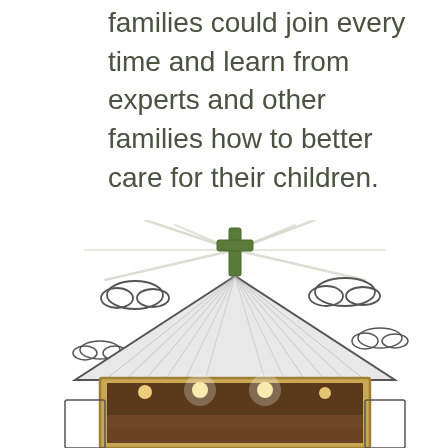families could join every time and learn from experts and other families how to better care for their children.
[Figure (illustration): Hand-drawn sketch illustration of a church building with a green cross on top, rays of light emanating from the cross, clouds on either side, and a photographic interior image of a room with ceiling lights embedded in the lower portion of the church facade.]